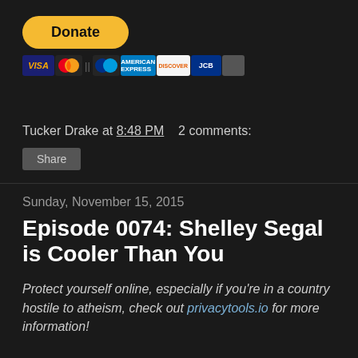[Figure (screenshot): PayPal Donate button with payment card icons (Visa, Mastercard, PayPal, American Express, Discover, JCB)]
Tucker Drake at 8:48 PM   2 comments:
Share
Sunday, November 15, 2015
Episode 0074: Shelley Segal is Cooler Than You
Protect yourself online, especially if you're in a country hostile to atheism, check out privacytools.io for more information!